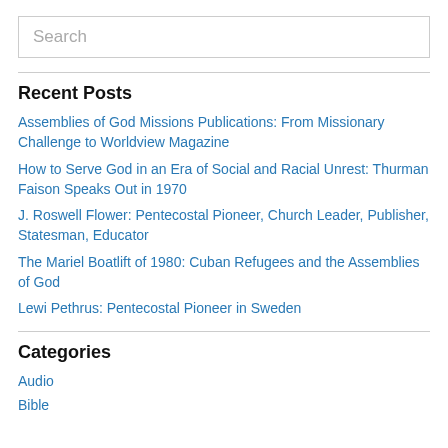[Figure (screenshot): Search input field with placeholder text 'Search']
Recent Posts
Assemblies of God Missions Publications: From Missionary Challenge to Worldview Magazine
How to Serve God in an Era of Social and Racial Unrest: Thurman Faison Speaks Out in 1970
J. Roswell Flower: Pentecostal Pioneer, Church Leader, Publisher, Statesman, Educator
The Mariel Boatlift of 1980: Cuban Refugees and the Assemblies of God
Lewi Pethrus: Pentecostal Pioneer in Sweden
Categories
Audio
Bible